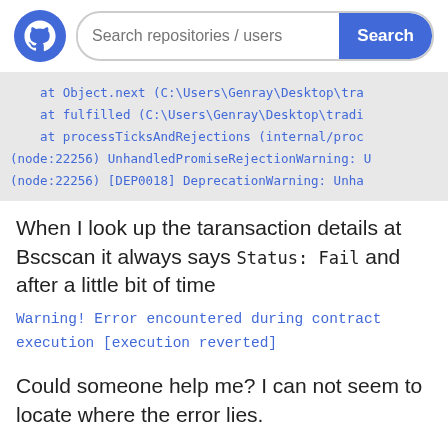[Figure (logo): GitHub logo - white cat octocat on blue circle background, with a search bar to the right containing placeholder text 'Search repositories / users' and a blue 'Search' button]
at Object.next (C:\Users\Genray\Desktop\tra...
    at fulfilled (C:\Users\Genray\Desktop\tradi...
    at processTicksAndRejections (internal/proc...
(node:22256) UnhandledPromiseRejectionWarning: U...
(node:22256) [DEP0018] DeprecationWarning: Unha...
When I look up the taransaction details at Bscscan it always says Status: Fail and after a little bit of time
Warning! Error encountered during contract execution [execution reverted]
Could someone help me? I can not seem to locate where the error lies.